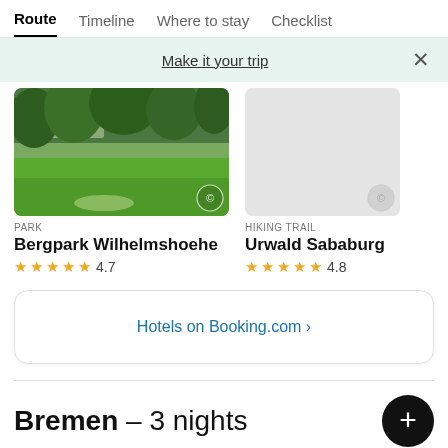Route | Timeline | Where to stay | Checklist
Make it your trip
[Figure (photo): Outdoor photo of Bergpark Wilhelmshoehe showing green lawns and trees with a building in background]
PARK
Bergpark Wilhelmshoehe
4.7
HIKING TRAIL
Urwald Sababurg
4.8
Hotels on Booking.com ›
Bremen – 3 nights